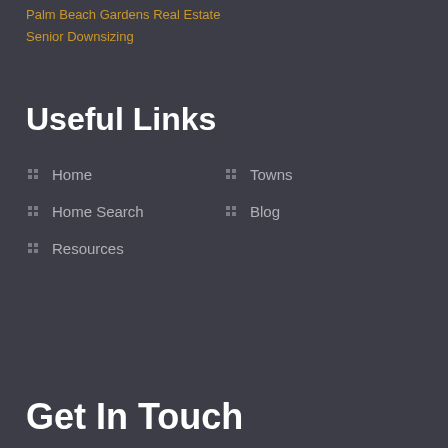Palm Beach Gardens Real Estate
Senior Downsizing
Useful Links
Home
Towns
Home Search
Blog
Resources
Get In Touch